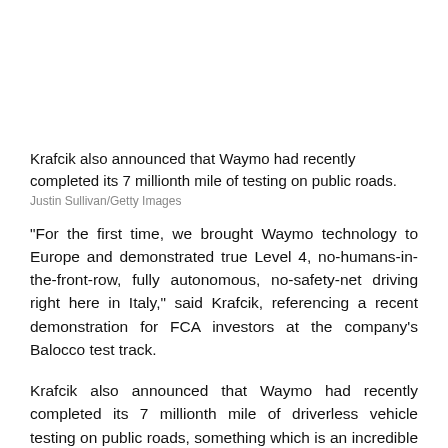Krafcik also announced that Waymo had recently completed its 7 millionth mile of testing on public roads.
Justin Sullivan/Getty Images
"For the first time, we brought Waymo technology to Europe and demonstrated true Level 4, no-humans-in-the-front-row, fully autonomous, no-safety-net driving right here in Italy," said Krafcik, referencing a recent demonstration for FCA investors at the company's Balocco test track.
Krafcik also announced that Waymo had recently completed its 7 millionth mile of driverless vehicle testing on public roads, something which is an incredible achievement in and of itself.